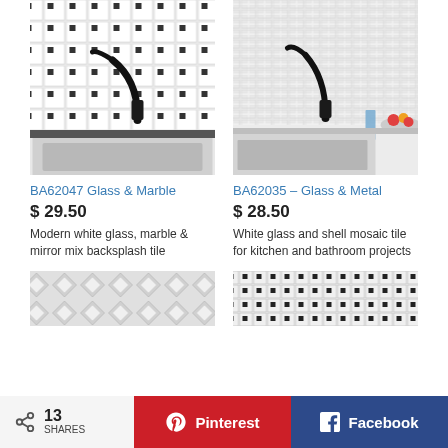[Figure (photo): Kitchen backsplash with black and white mosaic tile, black faucet and white sink — product BA62047]
[Figure (photo): Kitchen backsplash with white glass and metal mosaic tile, black faucet, white countertop, bowl of fruit — product BA62035]
BA62047 Glass & Marble
$ 29.50
Modern white glass, marble & mirror mix backsplash tile
BA62035 – Glass & Metal
$ 28.50
White glass and shell mosaic tile for kitchen and bathroom projects
[Figure (photo): White geometric mosaic tile close-up — bottom left product thumbnail]
[Figure (photo): Black and white mosaic tile close-up — bottom right product thumbnail]
13 SHARES   Pinterest   Facebook